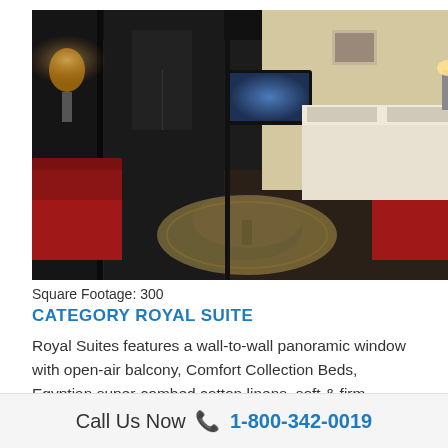[Figure (photo): Interior photo of a cruise ship Royal Suite showing a dark-themed room with red sofas, a round coffee table, decorative rug, wall-mounted TV screen, and a bed visible in the background with warm lighting.]
Square Footage: 300
CATEGORY ROYAL SUITE
Royal Suites features a wall-to-wall panoramic window with open-air balcony, Comfort Collection Beds, Egyptian super-combed cotton linens, soft & firm pillows, choice of bed configuration, bedside tables with reading lamps, L'Occitane bath products, easy under-bed luggage storage, alarm clock, bathrobes & slippers, complimentary bottled water, individual climate control, large mirror in bathroom, marble countertops in bathroom, full shower with glass door, double sinks, vanity, 6-person sitting area,
Call Us Now 📞 1-800-342-0019